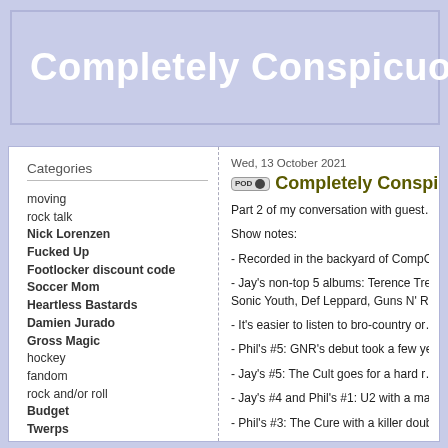Completely Conspicuous
Wed, 13 October 2021
Completely Conspicuous (truncated)
Part 2 of my conversation with guest...
Show notes:
- Recorded in the backyard of CompC...
- Jay's non-top 5 albums: Terence Tre... Sonic Youth, Def Leppard, Guns N' R...
- It's easier to listen to bro-country or...
- Phil's #5: GNR's debut took a few ye...
- Jay's #5: The Cult goes for a hard r...
- Jay's #4 and Phil's #1: U2 with a ma...
- Phil's #3: The Cure with a killer doub...
- Jay's #3: R.E.M.'s last album on IRS...
- Phil's #2: The Grateful Dead...
moving
rock talk
Nick Lorenzen
Fucked Up
Footlocker discount code
Soccer Mom
Heartless Bastards
Damien Jurado
Gross Magic
hockey
fandom
rock and/or roll
Budget
Twerps
Screaming Trees
Delta Spirit
five years
unsung albums
Stephen Malkmus
Robert Pollard